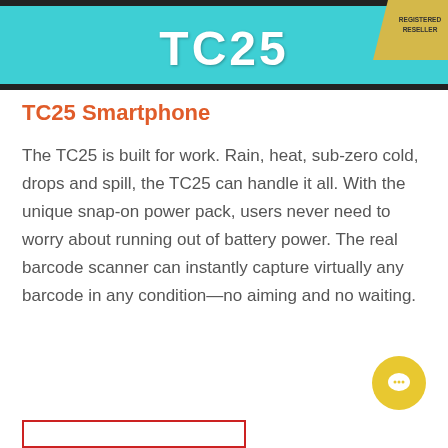[Figure (other): TC25 product header banner in teal/cyan color with large white bold text 'TC25' in the center, a black bar at top and bottom, and a gold 'REGISTERED RESELLER' badge in the top-right corner.]
TC25 Smartphone
The TC25 is built for work. Rain, heat, sub-zero cold, drops and spill, the TC25 can handle it all. With the unique snap-on power pack, users never need to worry about running out of battery power. The real barcode scanner can instantly capture virtually any barcode in any condition—no aiming and no waiting.